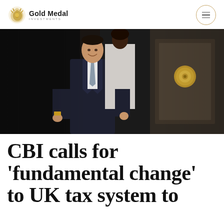Gold Medal Investments
[Figure (photo): Man in dark suit with grey tie smiling, walking out of a building, woman in white blouse behind him, ornate gold door handle visible in background]
CBI calls for 'fundamental change' to UK tax system to